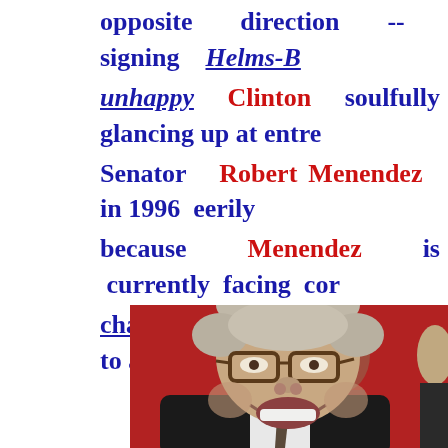opposite direction -- signing Helms-B... unhappy Clinton soulfully glancing up at entre... Senator Robert Menendez in 1996 eerily... because Menendez is currently facing cor... charges related to his close ties to a multi-millio...
[Figure (photo): Close-up photo of an elderly man with glasses, smiling broadly, wearing a dark suit and patterned tie, with a red background. Part of another person visible on the right edge.]